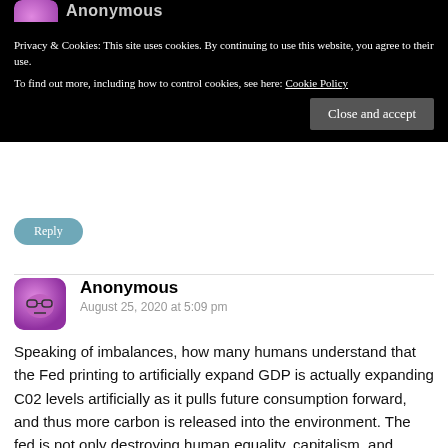[Figure (screenshot): Cookie consent banner overlay on a blog/website. Black background with white text stating privacy and cookies policy, and a 'Close and accept' button.]
Privacy & Cookies: This site uses cookies. By continuing to use this website, you agree to their use.
To find out more, including how to control cookies, see here: Cookie Policy
Close and accept
Reply
Anonymous
August 25, 2020 at 5:09 pm
Speaking of imbalances, how many humans understand that the Fed printing to artificially expand GDP is actually expanding C02 levels artificially as it pulls future consumption forward, and thus more carbon is released into the environment. The fed is not only destroying human equality, capitalism, and democracy in the process of printing trillions, they are destroying the future of mankind living comfortably on planet Earth. Want proof, look at the